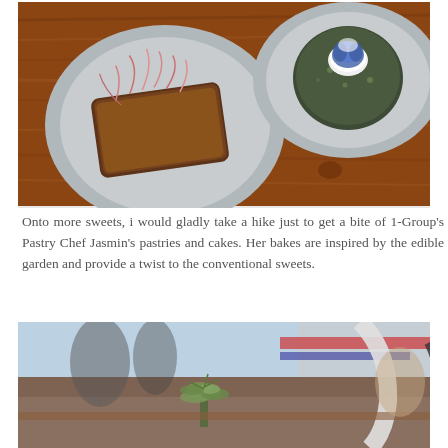[Figure (photo): Overhead view of two gray ceramic plates on a round wooden board. Left plate holds a rectangular pastry topped with pink microgreens and caramel glaze. Right plate holds a round dark-colored cake or muffin topped with a blue edible flower and white cream.]
Onto more sweets, i would gladly take a hike just to get a bite of 1-Group's Pastry Chef Jasmin's pastries and cakes. Her bakes are inspired by the edible garden and provide a twist to the conventional sweets.
[Figure (photo): Interior shot of a café or restaurant bar area with blurred background showing equipment, plants with small green leaves in the foreground, and light-colored furniture.]